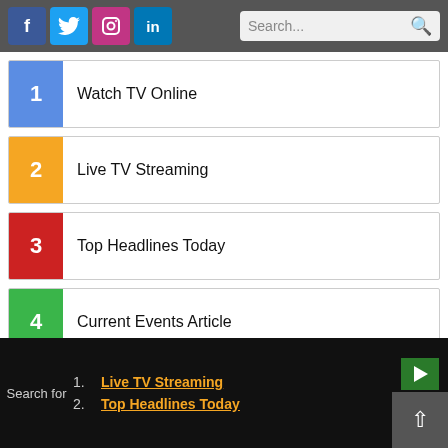[Figure (screenshot): Top navigation bar with social media icons (Facebook, Twitter, Instagram, LinkedIn) and a search bar]
1 Watch TV Online
2 Live TV Streaming
3 Top Headlines Today
4 Current Events Article
5 Luxury Cars
[Figure (photo): AbbVie advertisement banner with teal/blue background and text YOU MOVE]
1. Live TV Streaming
2. Top Headlines Today